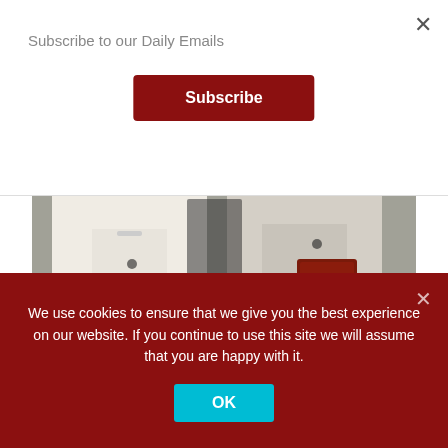Subscribe to our Daily Emails
Subscribe
[Figure (photo): Two men standing at what appears to be a trade show or conference — one in a white shirt, one in a light beige blazer holding a red folder. Video duration overlay visible at bottom left.]
Amino supporting RDK & Android platforms – ANGA COM Roundup Video
We use cookies to ensure that we give you the best experience on our website. If you continue to use this site we will assume that you are happy with it.
OK